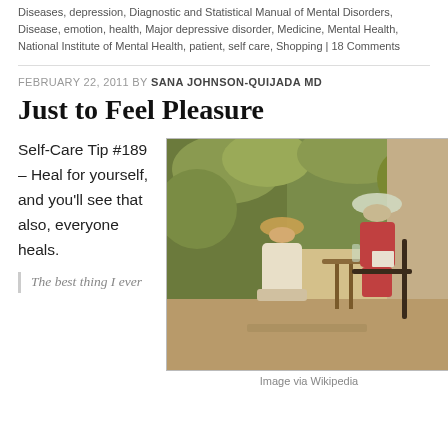Diseases, depression, Diagnostic and Statistical Manual of Mental Disorders, Disease, emotion, health, Major depressive disorder, Medicine, Mental Health, National Institute of Mental Health, patient, self care, Shopping | 18 Comments
FEBRUARY 22, 2011 BY SANA JOHNSON-QUIJADA MD
Just to Feel Pleasure
Self-Care Tip #189 – Heal for yourself, and you'll see that also, everyone heals.
[Figure (photo): Two women sitting on a patio or terrace with greenery, wearing sun hats, one reading a book, one drinking, in warm vintage-toned light.]
Image via Wikipedia
The best thing I ever